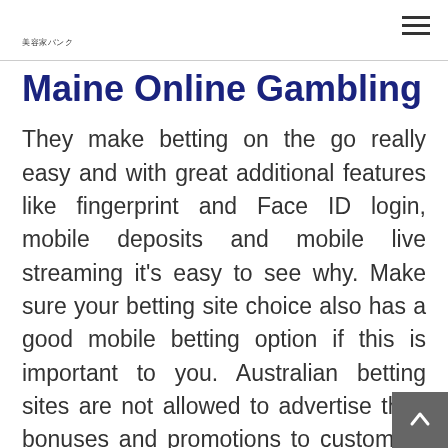美容家バンク
Maine Online Gambling
They make betting on the go really easy and with great additional features like fingerprint and Face ID login, mobile deposits and mobile live streaming it's easy to see why. Make sure your betting site choice also has a good mobile betting option if this is important to you. Australian betting sites are not allowed to advertise their bonuses and promotions to customers who are not yet signed up, that's probably why you're struggling to